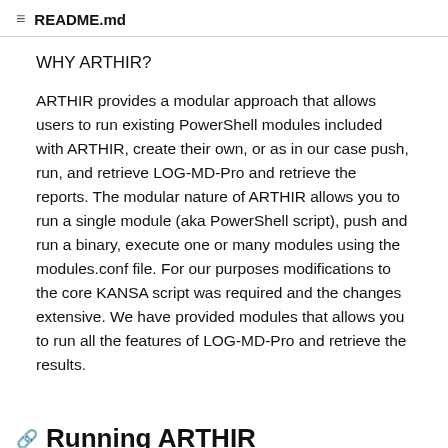README.md
WHY ARTHIR?
ARTHIR provides a modular approach that allows users to run existing PowerShell modules included with ARTHIR, create their own, or as in our case push, run, and retrieve LOG-MD-Pro and retrieve the reports. The modular nature of ARTHIR allows you to run a single module (aka PowerShell script), push and run a binary, execute one or many modules using the modules.conf file. For our purposes modifications to the core KANSA script was required and the changes extensive. We have provided modules that allows you to run all the features of LOG-MD-Pro and retrieve the results.
Running ARTHIR